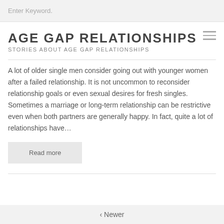Enter Keyword.
AGE GAP RELATIONSHIPS
STORIES ABOUT AGE GAP RELATIONSHIPS
A lot of older single men consider going out with younger women after a failed relationship. It is not uncommon to reconsider relationship goals or even sexual desires for fresh singles. Sometimes a marriage or long-term relationship can be restrictive even when both partners are generally happy. In fact, quite a lot of relationships have...
Read more
‹ Newer